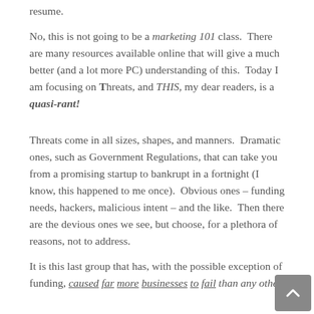resume.
No, this is not going to be a marketing 101 class.  There are many resources available online that will give a much better (and a lot more PC) understanding of this.  Today I am focusing on Threats, and THIS, my dear readers, is a quasi-rant!
Threats come in all sizes, shapes, and manners.  Dramatic ones, such as Government Regulations, that can take you from a promising startup to bankrupt in a fortnight (I know, this happened to me once).  Obvious ones – funding needs, hackers, malicious intent – and the like.  Then there are the devious ones we see, but choose, for a plethora of reasons, not to address.
It is this last group that has, with the possible exception of funding, caused far more businesses to fail than any other.